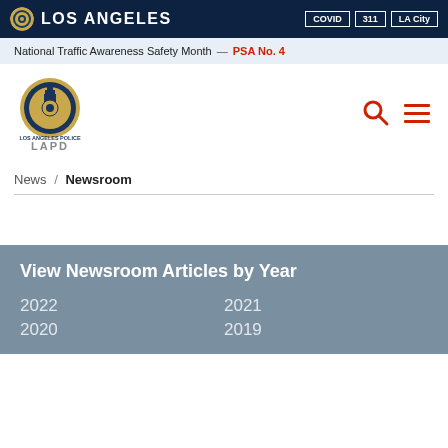LOS ANGELES | COVID | 311 | LA City
National Traffic Awareness Safety Month — PSA No. 4
[Figure (logo): LAPD badge and logo with search and hamburger menu icons]
News / Newsroom
View Newsroom Articles by Year
2022
2021
2020
2019